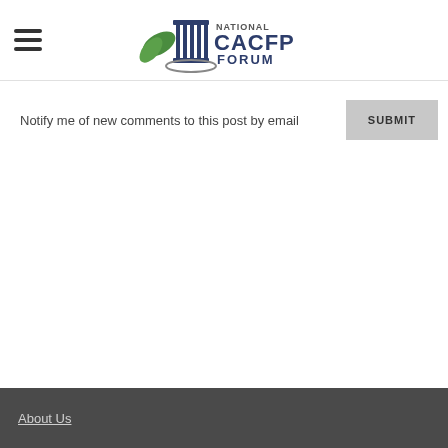[Figure (logo): National CACFP Forum logo with green leaf, blue pillar/column icon, and text NATIONAL CACFP FORUM]
Notify me of new comments to this post by email
SUBMIT
About Us